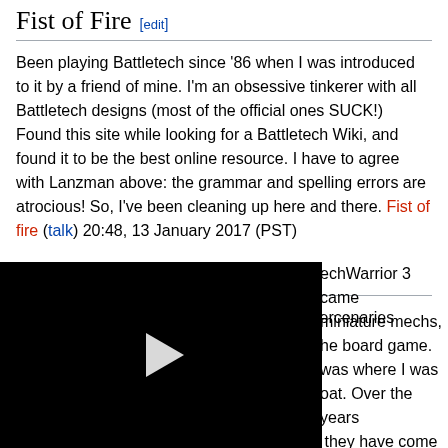Fist of Fire [edit]
Been playing Battletech since '86 when I was introduced to it by a friend of mine. I'm an obsessive tinkerer with all Battletech designs (most of the official ones SUCK!) Found this site while looking for a Battletech Wiki, and found it to be the best online resource. I have to agree with Lanzman above: the grammar and spelling errors are atrocious! So, I've been cleaning up here and there. Fist of fire (talk) 20:48, 13 January 2017 (PST)
MadRush [edit]
My first exposure was to MechWarrior 2: Mercenaries which … MechWarrior 3 came … miniature mechs, … he board game. … was where I was … oat. Over the years … s they have come … ones as well. … er a copy of the … rrently out of print
[Figure (other): Black video player overlay with play button triangle in center]